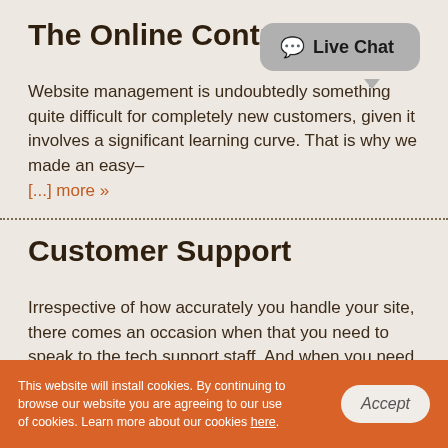The Online Control Panel
Website management is undoubtedly something quite difficult for completely new customers, given it involves a significant learning curve. That is why we made an easy– [...] more »
Customer Support
Irrespective of how accurately you handle your site, there comes an occasion when that you need to speak to the tech support staff. And when you need to wait for hours for [...] more »
Live Chat
This website will install cookies. By continuing to browse our website you are agreeing to our use of cookies. Learn more about our cookies here.